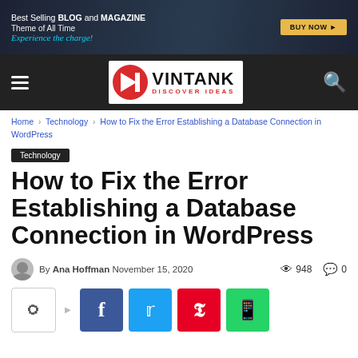[Figure (screenshot): Banner advertisement: Best Selling BLOG and MAGAZINE Theme of All Time. Experience the charge! BUY NOW button on right.]
[Figure (logo): Vintank Discover Ideas logo with hamburger menu and search icon on dark navbar.]
Home › Technology › How to Fix the Error Establishing a Database Connection in WordPress
Technology
How to Fix the Error Establishing a Database Connection in WordPress
By Ana Hoffman November 15, 2020  948  0
[Figure (infographic): Social share buttons: share icon, Facebook, Twitter, Pinterest, WhatsApp]